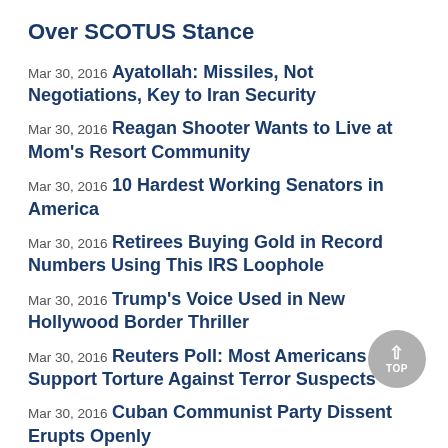Over SCOTUS Stance
Mar 30, 2016 Ayatollah: Missiles, Not Negotiations, Key to Iran Security
Mar 30, 2016 Reagan Shooter Wants to Live at Mom's Resort Community
Mar 30, 2016 10 Hardest Working Senators in America
Mar 30, 2016 Retirees Buying Gold in Record Numbers Using This IRS Loophole
Mar 30, 2016 Trump's Voice Used in New Hollywood Border Thriller
Mar 30, 2016 Reuters Poll: Most Americans Support Torture Against Terror Suspects
Mar 30, 2016 Cuban Communist Party Dissent Erupts Openly